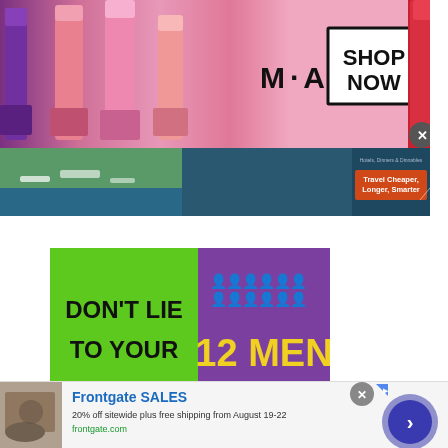[Figure (illustration): MAC cosmetics banner advertisement showing lipsticks and 'SHOP NOW' button]
[Figure (photo): Travel advertisement banner with cruise ship photo and 'Travel Cheaper, Longer, Smarter' tagline]
[Figure (infographic): Mental health infographic: 'DON'T LIE TO YOUR FRIENDS' on green background alongside purple panel stating '12 MEN TAKE THEIR OWN LIFE EVERY DAY IN THE UK' with person icons]
[Figure (illustration): Readers' Favorite Book Award Contest banner with yellow and white text on purple background]
[Figure (illustration): Frontgate SALES advertisement with outdoor furniture photo, '20% off sitewide plus free shipping from August 19-22', frontgate.com, and blue arrow button]